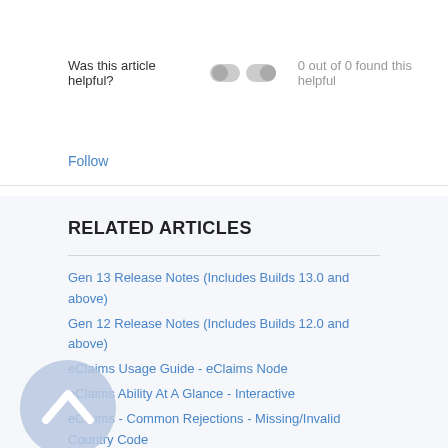Was this article helpful?   0 out of 0 found this helpful
Follow
RELATED ARTICLES
Gen 13 Release Notes (Includes Builds 13.0 and above)
Gen 12 Release Notes (Includes Builds 12.0 and above)
eClaims Usage Guide - eClaims Node
eClaims Ability At A Glance - Interactive
eClaims - Common Rejections - Missing/Invalid Country Code